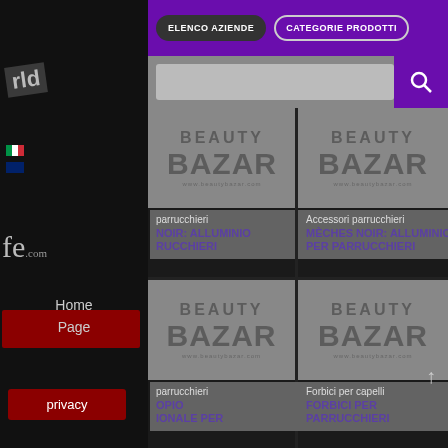[Figure (screenshot): Sidebar with logo 'rld' and 'fe.com', Italian and UK flags, navigation links Home Page, privacy button, and search bar]
ELENCO AZIENDE | CATEGORIE PRODOTTI
[Figure (screenshot): Search bar with purple search icon button on right]
[Figure (screenshot): Beauty Bazar logo grey on dark background - top left product card]
parrucchieri
NOIR: ALLUMINIO RUCCHIERI
[Figure (screenshot): Beauty Bazar logo grey on dark background - top right product card]
Accessori parrucchieri
MÈCHES NOIR: ALLUMINIO PER PARRUCCHIERI
[Figure (screenshot): Beauty Bazar logo grey on dark background - bottom left product card]
parrucchieri
OPIO IONALE PER
[Figure (screenshot): Beauty Bazar logo grey on dark background - bottom right product card]
Forbici per capelli
FORBICI PER PARRUCCHIERI